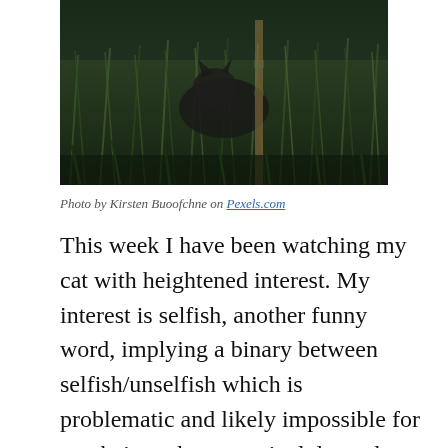[Figure (photo): Close-up photo of a cat partially hidden in dark green grass, low angle shot with moody dark tones]
Photo by Kirsten Buoofchne on Pexels.com
This week I have been watching my cat with heightened interest. My interest is selfish, another funny word, implying a binary between selfish/unselfish which is problematic and likely impossible for any being whose survival depends on connection with an intricate network of human and non-human beings. I am on the lookout for clues about walking in two worlds. Considering writing, loving, and any creative work, the idea of an extended